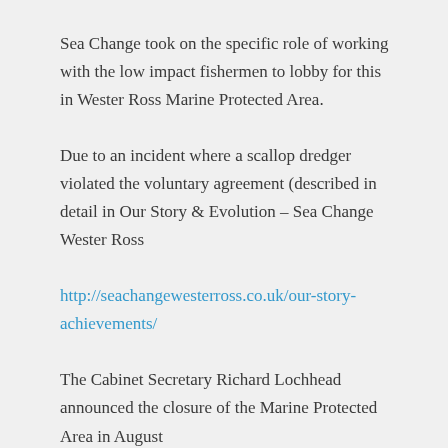Sea Change took on the specific role of working with the low impact fishermen to lobby for this in Wester Ross Marine Protected Area.
Due to an incident where a scallop dredger violated the voluntary agreement (described in detail in Our Story & Evolution – Sea Change Wester Ross
http://seachangewesterross.co.uk/our-story-achievements/
The Cabinet Secretary Richard Lochhead announced the closure of the Marine Protected Area in August